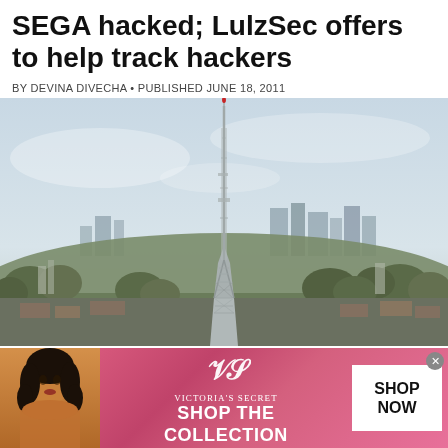SEGA hacked; LulzSec offers to help track hackers
BY DEVINA DIVECHA • PUBLISHED JUNE 18, 2011
[Figure (photo): Aerial cityscape photograph showing a tall broadcast/telecommunications tower rising above a suburban London landscape, with city skyline visible in the background and trees in the foreground.]
Stockings Corporation will not 21 year old in
[Figure (infographic): Victoria's Secret advertisement banner with pink gradient background. Shows a model on the left, the VS logo and brand name 'Victoria's Secret' in center, 'SHOP THE COLLECTION' text, and a white 'SHOP NOW' button on the right.]